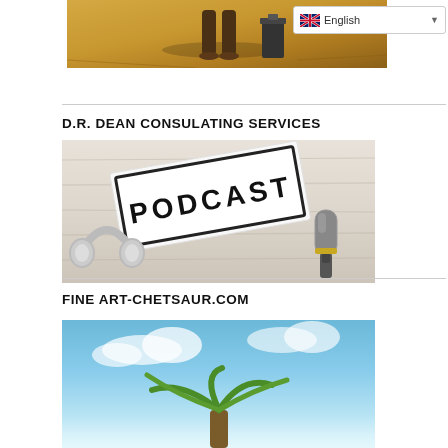[Figure (photo): Top portion of a photo showing a person standing on a golden/sandy surface near a trash bin]
[Figure (other): Language selector dropdown showing English with UK flag]
D.R. DEAN CONSULATING SERVICES
[Figure (photo): Podcast setup photo showing a light box with the word PODCAST, white headphones, and a microphone on a white wooden surface]
FINE ART-CHETSAUR.COM
[Figure (photo): Partial photo showing a blue sky with what appears to be a palm tree at the bottom]